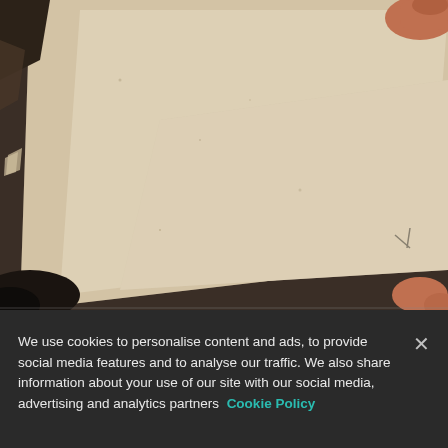[Figure (photo): Close-up photo of old, worn paper pages being turned by a hand with fingers visible at top right and bottom right. The pages appear aged, cream/beige colored with slight staining and texture.]
We use cookies to personalise content and ads, to provide social media features and to analyse our traffic. We also share information about your use of our site with our social media, advertising and analytics partners Cookie Policy